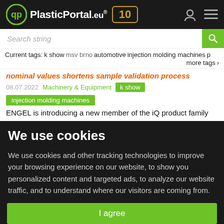PlasticPortal.eu® 10
Search string
Current tags: k show  msv brno  automotive  injection molding machines  p  more tags >
nominal values shortens sample validation process
08.07.2022   Machinery & Equipment   k show   injection molding machines
ENGEL is introducing a new member of the iQ product family
We use cookies
We use cookies and other tracking technologies to improve your browsing experience on our website, to show you personalized content and targeted ads, to analyze our website traffic, and to understand where our visitors are coming from.
I agree